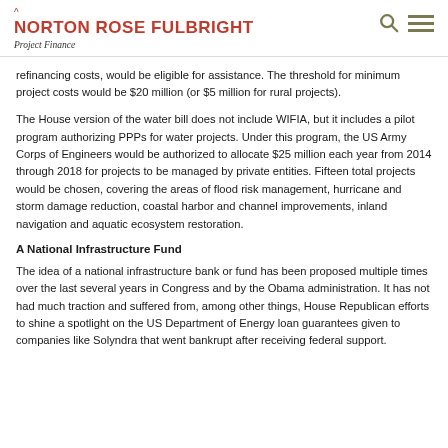NORTON ROSE FULBRIGHT
Project Finance
refinancing costs, would be eligible for assistance. The threshold for minimum project costs would be $20 million (or $5 million for rural projects).
The House version of the water bill does not include WIFIA, but it includes a pilot program authorizing PPPs for water projects. Under this program, the US Army Corps of Engineers would be authorized to allocate $25 million each year from 2014 through 2018 for projects to be managed by private entities. Fifteen total projects would be chosen, covering the areas of flood risk management, hurricane and storm damage reduction, coastal harbor and channel improvements, inland navigation and aquatic ecosystem restoration.
A National Infrastructure Fund
The idea of a national infrastructure bank or fund has been proposed multiple times over the last several years in Congress and by the Obama administration. It has not had much traction and suffered from, among other things, House Republican efforts to shine a spotlight on the US Department of Energy loan guarantees given to companies like Solyndra that went bankrupt after receiving federal support.